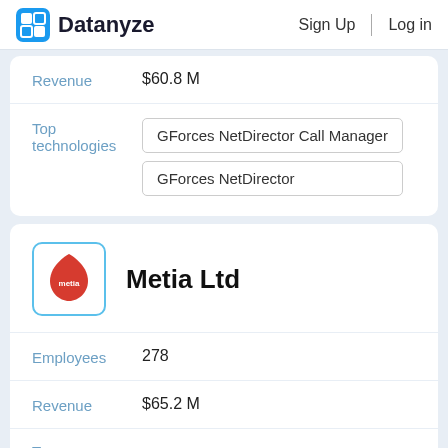Datanyze   Sign Up   Log in
| Field | Value |
| --- | --- |
| Revenue | $60.8 M |
| Top technologies | GForces NetDirector Call Manager | GForces NetDirector |
[Figure (logo): Metia Ltd company logo - red teardrop/leaf shape with white 'metia' text, inside blue-bordered white box]
Metia Ltd
| Field | Value |
| --- | --- |
| Employees | 278 |
| Revenue | $65.2 M |
| Top technologies | (partial - cut off) |